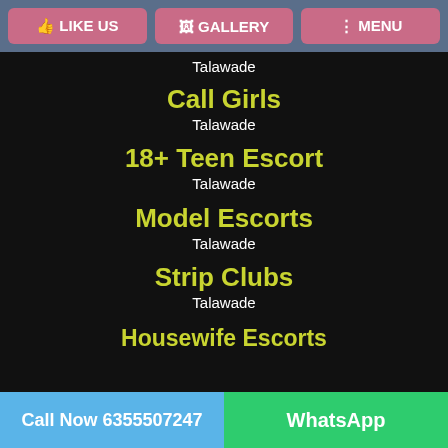LIKE US | GALLERY | MENU
Talawade
Call Girls
Talawade
18+ Teen Escort
Talawade
Model Escorts
Talawade
Strip Clubs
Talawade
Housewife Escorts
Call Now 6355507247 | WhatsApp